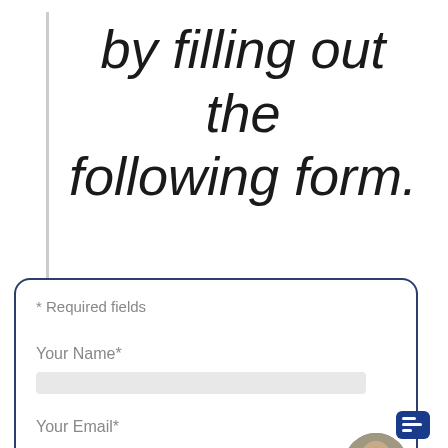by filling out the following form.
* Required fields
Your Name*
Your Email*